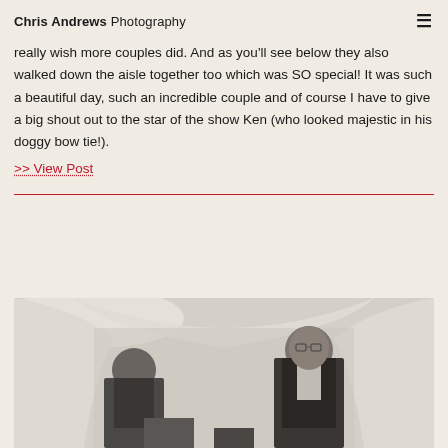Chris Andrews Photography
really wish more couples did. And as you'll see below they also walked down the aisle together too which was SO special! It was such a beautiful day, such an incredible couple and of course I have to give a big shout out to the star of the show Ken (who looked majestic in his doggy bow tie!).
>> View Post
[Figure (photo): Black and white wedding photograph showing two people under a draped arch/chuppah in a ceremony setting]